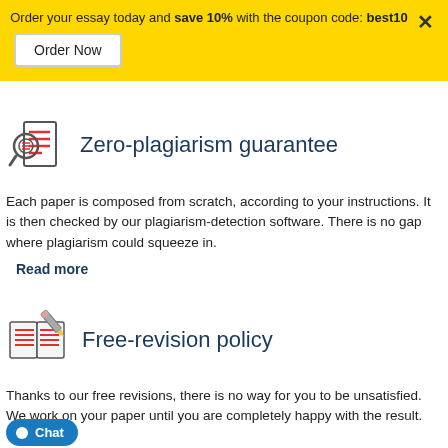Order your essay today and save 10% with the coupon code: best10
Zero-plagiarism guarantee
Each paper is composed from scratch, according to your instructions. It is then checked by our plagiarism-detection software. There is no gap where plagiarism could squeeze in.
Read more
Free-revision policy
Thanks to our free revisions, there is no way for you to be unsatisfied. We work on your paper until you are completely happy with the result.